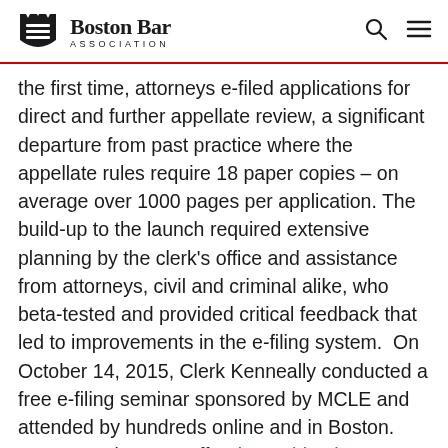Boston Bar Association
the first time, attorneys e-filed applications for direct and further appellate review, a significant departure from past practice where the appellate rules require 18 paper copies – on average over 1000 pages per application. The build-up to the launch required extensive planning by the clerk's office and assistance from attorneys, civil and criminal alike, who beta-tested and provided critical feedback that led to improvements in the e-filing system.  On  October 14, 2015, Clerk Kenneally conducted a free e-filing seminar sponsored by MCLE and attended by hundreds online and in Boston.  MCLE continues to offer the archived program free of charge on its website. Perhaps the most telling statistic to illustrate the success of e-filing to date is the high rate of attorney participation particularly in light of national averages where e-filing